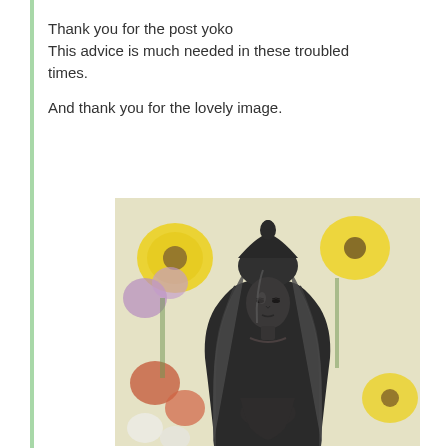Thank you for the post yoko
This advice is much needed in these troubled times.

And thank you for the lovely image.
[Figure (photo): A dark grey/black statue of Guanyin (Buddhist deity/bodhisattva) with a serene face and ornate headdress, photographed in front of colorful flowers including yellow sunflowers and purple and red blooms.]